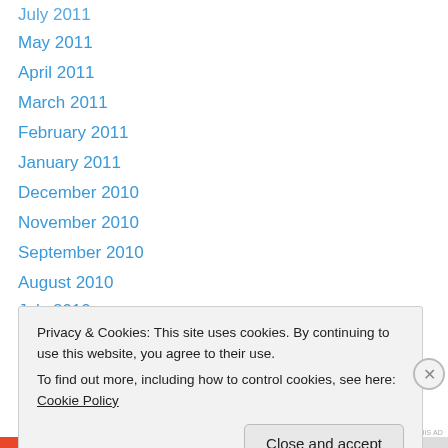July 2011
May 2011
April 2011
March 2011
February 2011
January 2011
December 2010
November 2010
September 2010
August 2010
July 2010
June 2010
May 2010
April 2010
Privacy & Cookies: This site uses cookies. By continuing to use this website, you agree to their use.
To find out more, including how to control cookies, see here: Cookie Policy
Close and accept